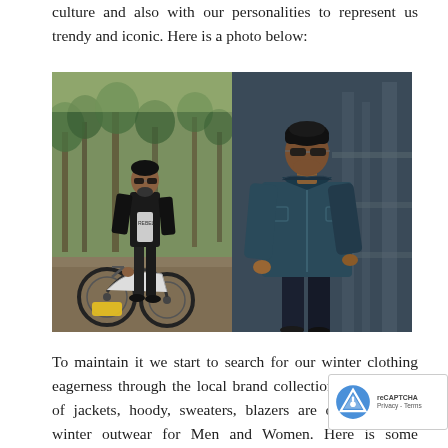culture and also with our personalities to represent us trendy and iconic. Here is a photo below:
[Figure (photo): Two side-by-side photos of men in leather jackets. Left: a man with sunglasses standing next to a motorcycle in a tree-lined park, wearing a black leather jacket and jeans. Right: a man in a teal/dark blue leather jacket with sunglasses, posed against a blurred industrial background.]
To maintain it we start to search for our winter clothing eagerness through the local brand collection. We see lots of jackets, hoody, sweaters, blazers are on the list of winter outwear for Men and Women. Here is some trendiest outfits and winter wear to motivate and guide you as you